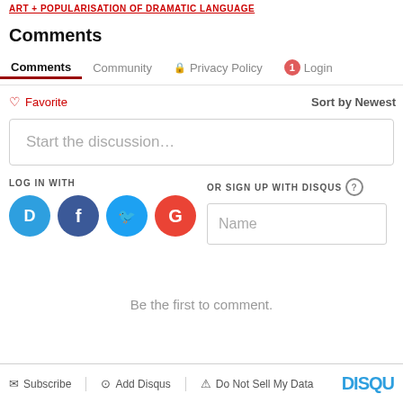ART + POPULARISATION OF DRAMATIC LANGUAGE
Comments
Comments  Community  🔒 Privacy Policy  1 Login
♡ Favorite    Sort by Newest
Start the discussion…
LOG IN WITH
OR SIGN UP WITH DISQUS ?
Name
Be the first to comment.
✉ Subscribe  ⊙ Add Disqus  ⚠ Do Not Sell My Data  DISQU